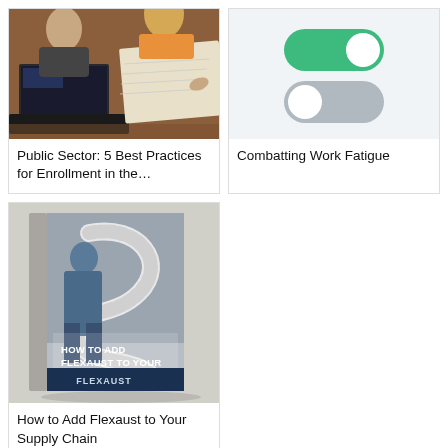[Figure (photo): Photo of people around a table with a laptop and maps, for a public sector enrollment article]
Public Sector: 5 Best Practices for Enrollment in the…
[Figure (illustration): Toggle switch UI illustration showing an enabled green toggle above a disabled grey toggle, for a work fatigue article]
Combatting Work Fatigue
[Figure (photo): Book cover illustration showing a person holding a flexible hose duct with text 'HOW TO ADD FLEXAUST TO YOUR SUPPLY CHAIN' and Flexaust branding]
How to Add Flexaust to Your Supply Chain